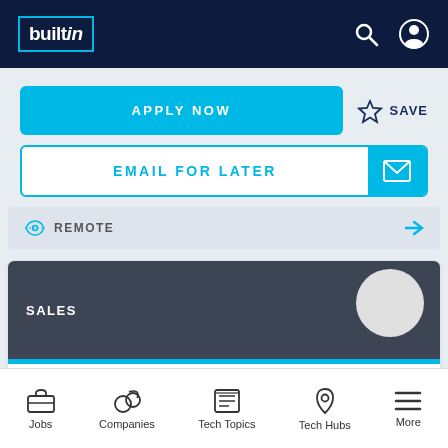[Figure (screenshot): BuiltIn website navigation bar with logo, search icon, and user profile icon on dark navy background]
APPLY NOW
SAVE
EMAIL FOR LATER
REMOTE
SALES
Mid-Market, Sales Executive
MODERNIZE HOME SERVICES, A QUINSTREET VERTICAL
Jobs  Companies  Tech Topics  Tech Hubs  More